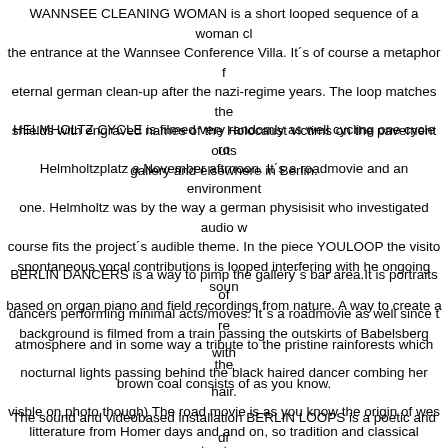WANNSEE CLEANING WOMAN is a short looped sequence of a woman cleaning the entrance at the Wannsee Conference Villa. It´s of course a metaphor for the eternal german clean-up after the nazi-regime years. The loop matches the shields with engraved names of the Holocaust victims on the pavement outside the gallery and elsewhere in Berlin.
HELMHOLTZ CYCLE is filmed very randomly as well cycling one cycle round Helmholtzplatz a November aftrnoon. It´s a roadmovie and an environmental one. Helmholtz was by the way a german physisisit who investigated audio which of course fits the project´s audible theme. In the piece YOULOOP the visitor´s spontaneous vocal contributions is looped interfering with he ongoing soundscape based on organ piano and field recordings from nature. A way to create a relaxing atmosphere and in some way a tribute to the pristine rainforests which the brown coal consists of as you know.
BERLIN DANCERS is a way to pimp the gallery´s bar area.It is portraits of dancers performing minimal acts/moves. It´s a roadmovie as well since the background is filmed from a train passing the outskirts of Babelsberg with its nocturnal lights passing behind the black haired dancer combing her hair.(not visble on photo though) The road movie is as you know the origin of western litterature from Homer days and and on, so tradition and classical structures are foundationl wwork with. The red haired, the blond and the dark haired ladies are a reference to Edvard Munchs famous painting "the dance of life" and enhance the gallery´s dance art ambitions.
The sound and videobased installation BERLIN LOOPS is a poetic and dramatic urban portrait of Berlin with a site-specific, contextual, interactive twist link...